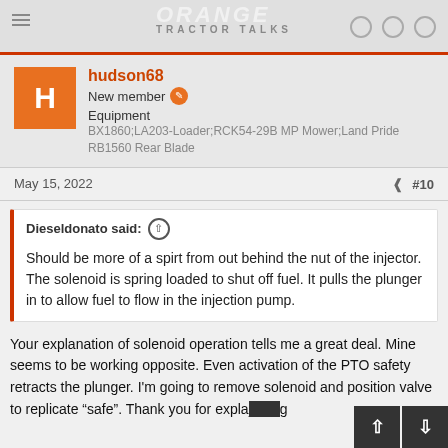ORANGE TRACTOR TALKS
hudson68
New member
Equipment
BX1860;LA203-Loader;RCK54-29B MP Mower;Land Pride RB1560 Rear Blade
May 15, 2022  #10
Dieseldonato said: Should be more of a spirt from out behind the nut of the injector. The solenoid is spring loaded to shut off fuel. It pulls the plunger in to allow fuel to flow in the injection pump.
Your explanation of solenoid operation tells me a great deal. Mine seems to be working opposite. Even activation of the PTO safety retracts the plunger. I'm going to remove solenoid and position valve to replicate “safe”. Thank you for expla...g